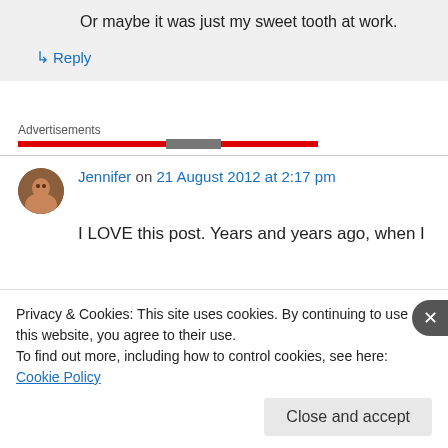Or maybe it was just my sweet tooth at work.
↳ Reply
Advertisements
Jennifer on 21 August 2012 at 2:17 pm
I LOVE this post. Years and years ago, when I
Privacy & Cookies: This site uses cookies. By continuing to use this website, you agree to their use.
To find out more, including how to control cookies, see here: Cookie Policy
Close and accept